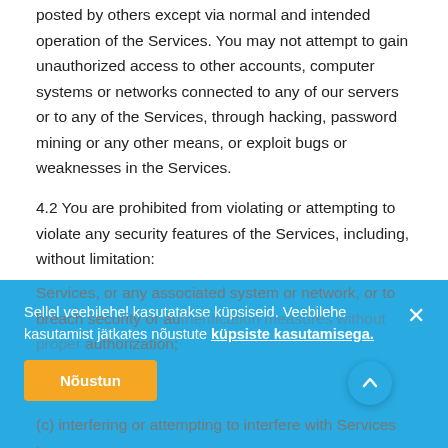posted by others except via normal and intended operation of the Services. You may not attempt to gain unauthorized access to other accounts, computer systems or networks connected to any of our servers or to any of the Services, through hacking, password mining or any other means, or exploit bugs or weaknesses in the Services.
4.2 You are prohibited from violating or attempting to violate any security features of the Services, including, without limitation:
(a) accessing Content not intended for you, or logging onto a server or account that you are not authorized to access;
(b) attempting to probe, scan, or test the vulnerability of the Services, or any associated system or network, or to breach security or authentication measures without proper authorization;
(c) interfering or attempting to interfere with Services to any
Sellel veebilehel kasutatakse küpsiseid. Veebilehe kasutamist jätkates nõustute küpsiste kasutamisega.